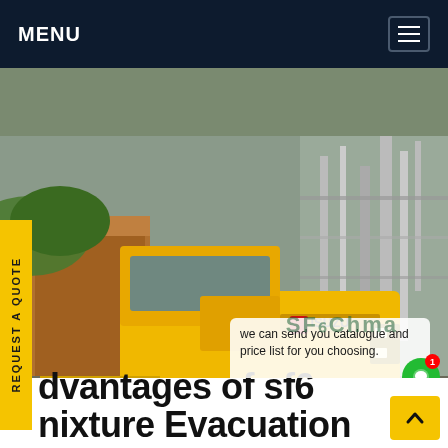MENU
[Figure (photo): A yellow Isuzu truck / service vehicle parked at an industrial electrical substation site. The truck appears to be an SF6 gas handling service cart vehicle. Background shows electrical equipment and substation structures.]
Advantages of sf6 Mixture Evacuation
A service cart enables the recovery of the SF 6 gas from a gas compartment to a final vacuum of <1 mbar. Thereby the gas flows automatically via oil and particle filters which effectively adsorb